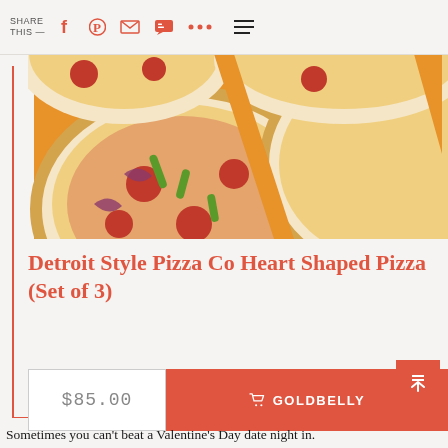SHARE THIS —
[Figure (photo): Close-up photo of Detroit-style heart-shaped pizzas with pepperoni, green peppers, red onions, and cheese on an orange/yellow background]
Detroit Style Pizza Co Heart Shaped Pizza (Set of 3)
$85.00
GOLDBELLY
Sometimes you can’t beat a Valentine’s Day date night in.